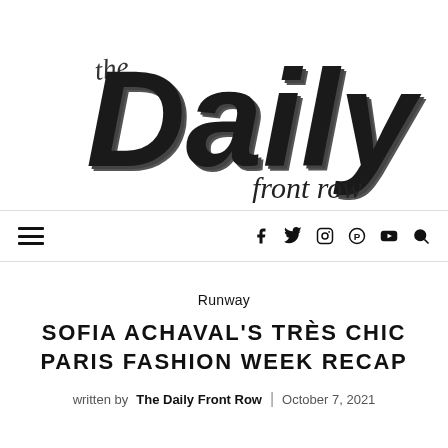[Figure (logo): The Daily Front Row logo — large bold italic 'Daily' text with stylized 3D lettering, 'the' in script above 'D', 'front row' in cursive script below right]
≡  f  ✓  ⊙  ®  ▶  🔍
Runway
SOFIA ACHAVAL'S TRÈS CHIC PARIS FASHION WEEK RECAP
written by The Daily Front Row  |  October 7, 2021